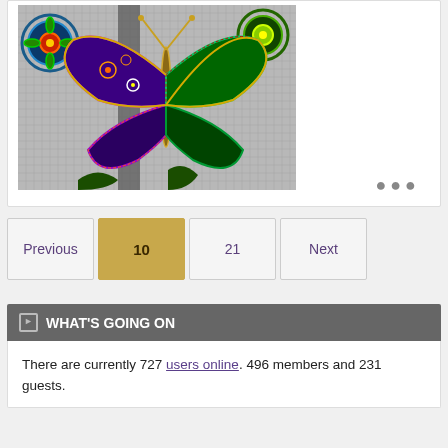[Figure (photo): Colorful butterfly mosaic artwork on a grey/white mosaic tile background with decorative circular mandala patterns on the sides. The butterfly is purple/gold with intricate designs.]
•••
Previous
10
21
Next
WHAT'S GOING ON
There are currently 727 users online. 496 members and 231 guests.